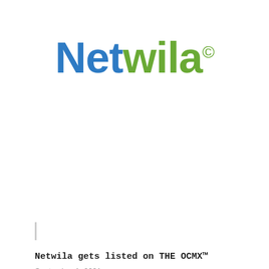[Figure (logo): Netwila logo with copyright symbol. 'Net' in blue, 'wila' in green, followed by a green copyright symbol.]
Netwila gets listed on THE OCMX™
September 1, 2021
[Figure (screenshot): Partially visible gray content area with two short horizontal gray lines visible at bottom center, suggesting a loading or placeholder image.]